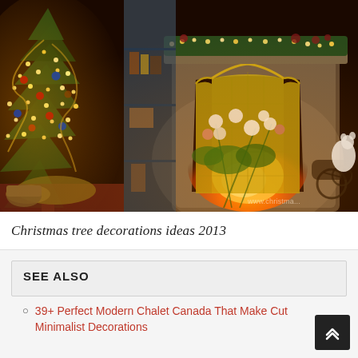[Figure (photo): Indoor Christmas scene with a decorated Christmas tree on the left adorned with lights, ornaments, and garlands. A lit fireplace with a brass fire screen is in the center-right, surrounded by greenery and lights on the mantel. Gifts, baskets, and floral arrangements are in the foreground. A watermark 'www.christmas...' is visible in the bottom-right corner.]
Christmas tree decorations ideas 2013
SEE ALSO
39+ Perfect Modern Chalet Canada That Make Cut Minimalist Decorations